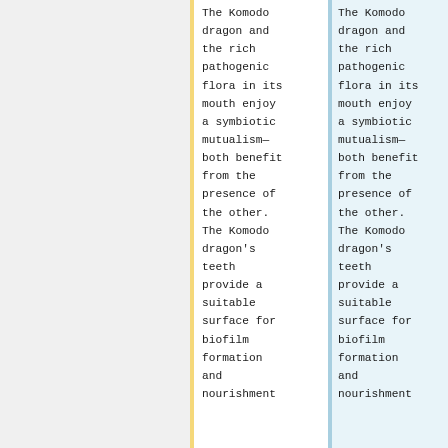The Komodo dragon and the rich pathogenic flora in its mouth enjoy a symbiotic mutualism—both benefit from the presence of the other. The Komodo dragon's teeth provide a suitable surface for biofilm formation and nourishment
The Komodo dragon and the rich pathogenic flora in its mouth enjoy a symbiotic mutualism—both benefit from the presence of the other. The Komodo dragon's teeth provide a suitable surface for biofilm formation and nourishment